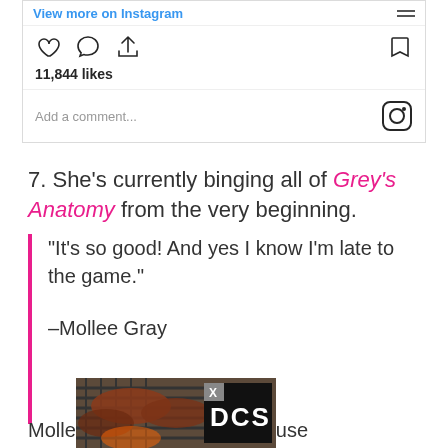[Figure (screenshot): Instagram post UI showing 'View more on Instagram' link, hamburger menu, action icons (heart, comment, share, bookmark), like count of 11,844 likes, and a comment input area with Instagram logo]
7. She's currently binging all of Grey's Anatomy from the very beginning.
"It's so good! And yes I know I'm late to the game."

–Mollee Gray
[Figure (photo): Partially visible advertisement image showing grilled meat on a grill, with a DCS brand logo overlay and X close button]
Molle... ...use